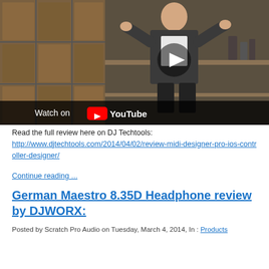[Figure (screenshot): YouTube video thumbnail showing a man in a dark jacket standing in a room with wooden panel doors and shelves. A YouTube play button overlay is visible. The bottom bar shows 'Watch on YouTube' with the YouTube logo.]
Read the full review here on DJ Techtools:
http://www.djtechtools.com/2014/04/02/review-midi-designer-pro-ios-controller-designer/
Continue reading ...
German Maestro 8.35D Headphone review by DJWORX:
Posted by Scratch Pro Audio on Tuesday, March 4, 2014, In : Products